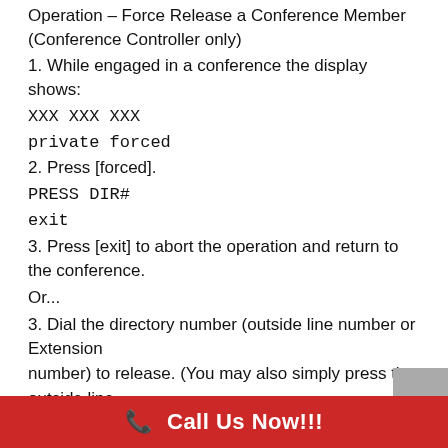Operation – Force Release a Conference Member (Conference Controller only)
1. While engaged in a conference the display shows:
XXX XXX XXX
private forced
2. Press [forced].
PRESS DIR#
exit
3. Press [exit] to abort the operation and return to the conference.
Or...
3. Dial the directory number (outside line number or Extension number) to release. (You may also simply press the outside line button or DSS button of the outside line/extension to be released.)
Call Us Now!!!